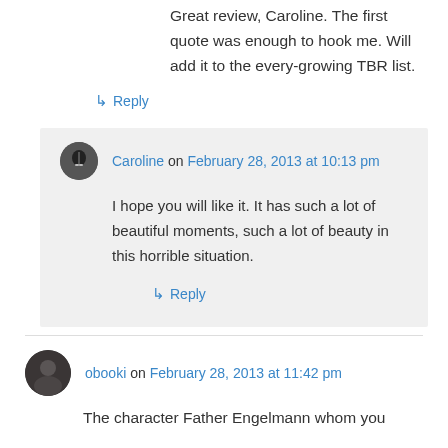Great review, Caroline. The first quote was enough to hook me. Will add it to the every-growing TBR list.
↳ Reply
Caroline on February 28, 2013 at 10:13 pm
I hope you will like it. It has such a lot of beautiful moments, such a lot of beauty in this horrible situation.
↳ Reply
obooki on February 28, 2013 at 11:42 pm
The character Father Engelmann whom you